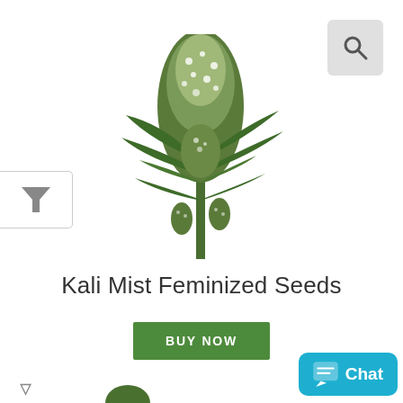[Figure (photo): Cannabis plant with dense frosty buds and green leaves — Kali Mist Feminized Seeds product photo]
Kali Mist Feminized Seeds
BUY NOW